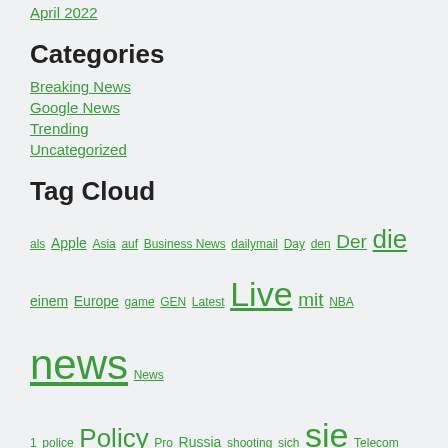April 2022
Categories
Breaking News
Google News
Trending
Uncategorized
Tag Cloud
als Apple Asia auf Business News dailymail Day den Der die einem Europe game GEN Latest Live mit NBA news News 1 police Policy Pro Russia shooting sich sie Telecom Tiger time Topnus tvshowbiz tägliche Post Ukraine und United updates von war we world während علي